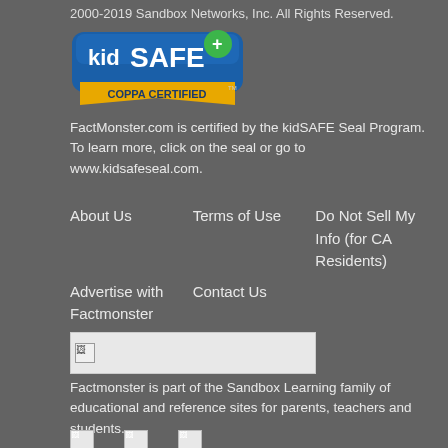2000-2019 Sandbox Networks, Inc. All Rights Reserved.
[Figure (logo): kidSAFE+ COPPA CERTIFIED seal logo]
FactMonster.com is certified by the kidSAFE Seal Program. To learn more, click on the seal or go to www.kidsafeseal.com.
About Us
Terms of Use
Do Not Sell My Info (for CA Residents)
Advertise with Factmonster
Contact Us
Citing Factmonster
[Figure (logo): Sandbox Learning logo (broken image placeholder)]
Factmonster is part of the Sandbox Learning family of educational and reference sites for parents, teachers and students.
[Figure (logo): Bottom social/icon links (broken image placeholders)]